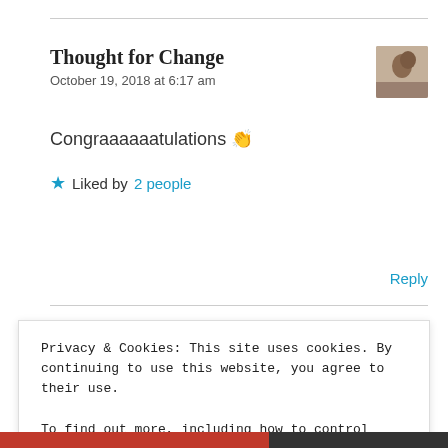Thought for Change
October 19, 2018 at 6:17 am
Congraaaaaatulations 👏
★ Liked by 2 people
Reply
Privacy & Cookies: This site uses cookies. By continuing to use this website, you agree to their use.
To find out more, including how to control cookies, see here: Cookie Policy
Close and accept